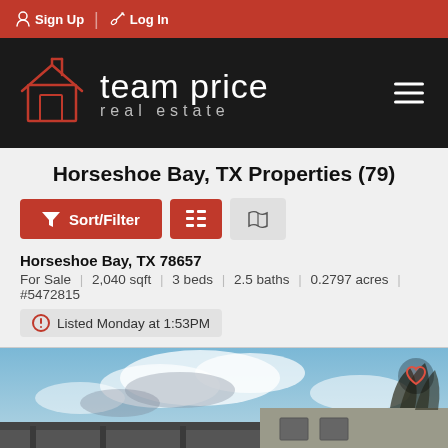Sign Up | Log In
[Figure (logo): Team Price Real Estate logo on dark background with hamburger menu icon]
Horseshoe Bay, TX Properties (79)
Sort/Filter (button), List view (button), Map view (button)
Horseshoe Bay, TX 78657
For Sale | 2,040 sqft | 3 beds | 2.5 baths | 0.2797 acres | #5472815
Listed Monday at 1:53PM
[Figure (photo): Exterior photo of a property in Horseshoe Bay TX showing a carport/covered area and building with blue cloudy sky]